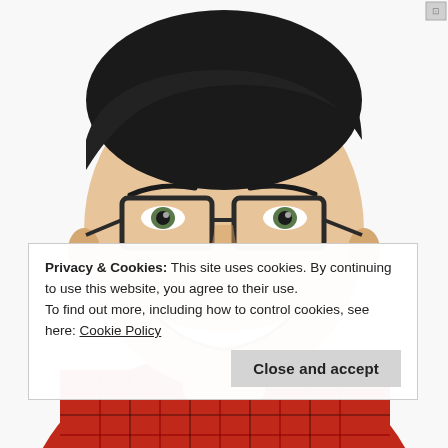[Figure (photo): Portrait photo of a young Asian man smiling, wearing dark-framed rectangular glasses and a red and black plaid shirt, against a white background.]
Privacy & Cookies: This site uses cookies. By continuing to use this website, you agree to their use.
To find out more, including how to control cookies, see here: Cookie Policy
Close and accept